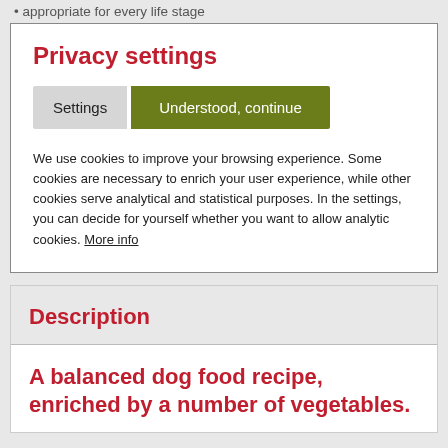appropriate for every life stage
Privacy settings
Settings   Understood, continue
We use cookies to improve your browsing experience. Some cookies are necessary to enrich your user experience, while other cookies serve analytical and statistical purposes. In the settings, you can decide for yourself whether you want to allow analytic cookies. More info
Description
A balanced dog food recipe, enriched by a number of vegetables.